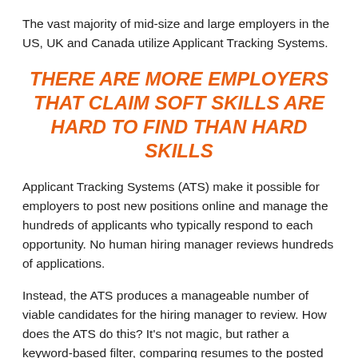The vast majority of mid-size and large employers in the US, UK and Canada utilize Applicant Tracking Systems.
THERE ARE MORE EMPLOYERS THAT CLAIM SOFT SKILLS ARE HARD TO FIND THAN HARD SKILLS
Applicant Tracking Systems (ATS) make it possible for employers to post new positions online and manage the hundreds of applicants who typically respond to each opportunity. No human hiring manager reviews hundreds of applications.
Instead, the ATS produces a manageable number of viable candidates for the hiring manager to review. How does the ATS do this? It's not magic, but rather a keyword-based filter, comparing resumes to the posted job description, and